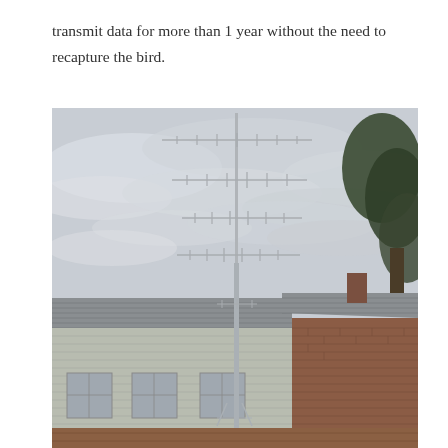transmit data for more than 1 year without the need to recapture the bird.
[Figure (photo): Photograph of a tall radio antenna mast mounted near a building rooftop, with multiple Yagi-style antenna arrays at various heights along the mast. The sky is overcast and grey. A large tree is visible at the right edge of the image. The building in the lower portion has a sloped tile roof and brick walls with windows.]